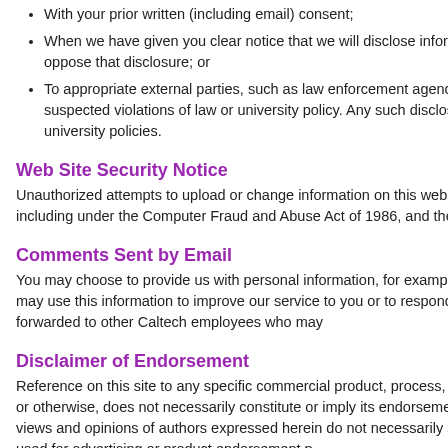With your prior written (including email) consent;
When we have given you clear notice that we will disclose information that, and you have had the opportunity to oppose that disclosure; or
To appropriate external parties, such as law enforcement agencies, in order to investigate and respond to suspected violations of law or university policy. Any such disclosures shall comply with applicable laws and university policies.
Web Site Security Notice
Unauthorized attempts to upload or change information on this website are strictly prohibited and punishable by law, including under the Computer Fraud and Abuse Act of 1986, and the National Infrastructure Protection Act of 1996.
Comments Sent by Email
You may choose to provide us with personal information, for example in an email message containing questions. We may use this information to improve our service to you or to respond to you. There may be times when your message is forwarded to other Caltech employees who may
Disclaimer of Endorsement
Reference on this site to any specific commercial product, process, or service by trade name, trademark, manufacturer, or otherwise, does not necessarily constitute or imply its endorsement, recommendation, or favoring by Caltech. The views and opinions of authors expressed herein do not necessarily state or reflect those of Caltech, and shall not be used for advertising or product endorsement p
Users Located in the European Economic Area
If you reside within the European Union or the European Economic Area (consis